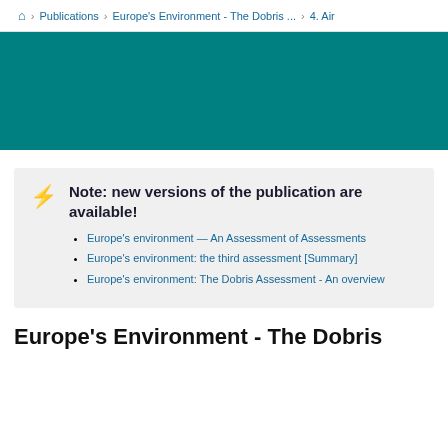🏠 > Publications > Europe's Environment - The Dobris ... > 4. Air
[Figure (other): Teal/dark cyan color banner image]
Note: new versions of the publication are available!
Europe's environment — An Assessment of Assessments
Europe's environment: the third assessment [Summary]
Europe's environment: The Dobris Assessment - An overview
Europe's Environment - The Dobris